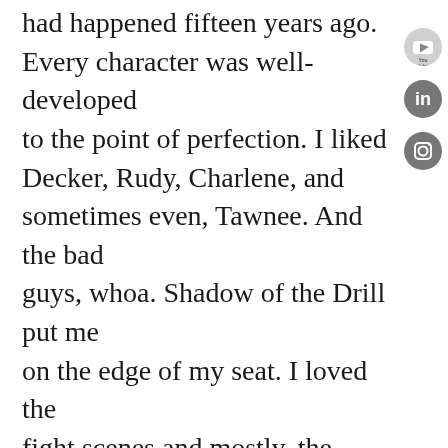had happened fifteen years ago. Every character was well-developed to the point of perfection. I liked Decker, Rudy, Charlene, and sometimes even, Tawnee. And the bad guys, whoa. Shadow of the Drill put me on the edge of my seat. I loved the fight scenes and mostly, the payback. And the sex scenes were unique to the point I actually didn't speed-read on by. I'll admit, erotica isn't really my thing. Many times sexual and erotic parts, I've found, tend to be somewhat alike. Read one, or a hundred, you've
[Figure (logo): YouTube logo icon (grey circle with play button)]
[Figure (logo): LinkedIn logo icon (dark grey circle with 'in')]
[Figure (logo): Instagram logo icon (dark grey circle with camera icon)]